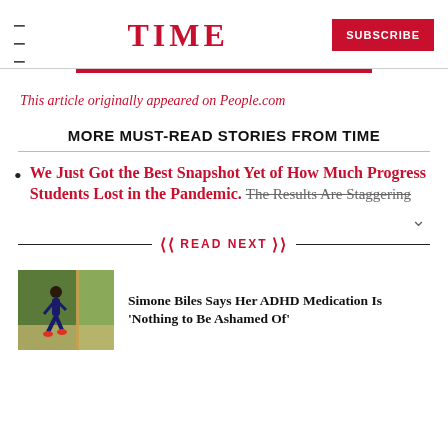TIME  SUBSCRIBE
This article originally appeared on People.com
MORE MUST-READ STORIES FROM TIME
We Just Got the Best Snapshot Yet of How Much Progress Students Lost in the Pandemic. The Results Are Staggering
READ NEXT
[Figure (photo): Photo of Simone Biles running/competing in a gymnastics or track event, green background]
Simone Biles Says Her ADHD Medication Is 'Nothing to Be Ashamed Of'